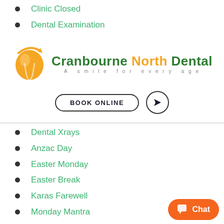Clinic Closed
Dental Examination
[Figure (logo): Cranbourne North Dental logo with orange tooth icon. Text reads 'Cranbourne North Dental - A smile for every age'. Below are two buttons: 'BOOK ONLINE' and a location arrow button.]
Dental Xrays
Anzac Day
Easter Monday
Easter Break
Karas Farewell
Monday Mantra
Dental Sterilisation
Monday Motivation
Clinic Closed